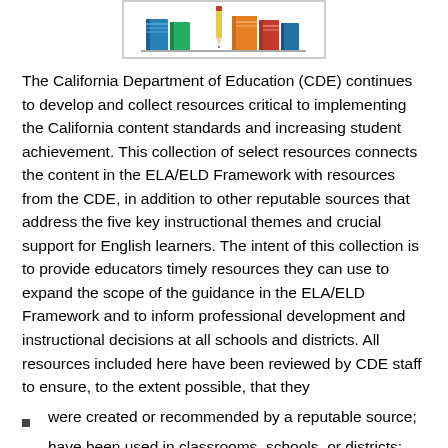[Figure (illustration): Illustration of books on a shelf with a pencil, shown inside a rectangular border]
The California Department of Education (CDE) continues to develop and collect resources critical to implementing the California content standards and increasing student achievement. This collection of select resources connects the content in the ELA/ELD Framework with resources from the CDE, in addition to other reputable sources that address the five key instructional themes and crucial support for English learners. The intent of this collection is to provide educators timely resources they can use to expand the scope of the guidance in the ELA/ELD Framework and to inform professional development and instructional decisions at all schools and districts. All resources included here have been reviewed by CDE staff to ensure, to the extent possible, that they
were created or recommended by a reputable source;
have been used in classrooms, schools, or districts;